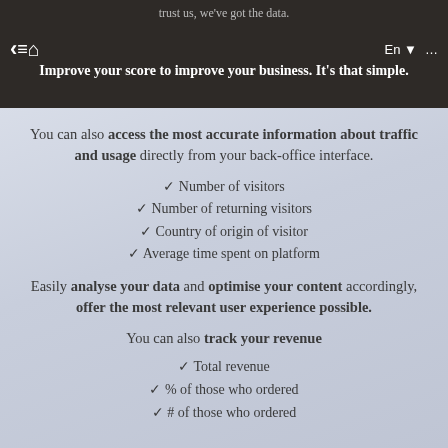trust us, we've got the data. Improve your score to improve your business. It's that simple.
You can also access the most accurate information about traffic and usage directly from your back-office interface.
✓ Number of visitors
✓ Number of returning visitors
✓ Country of origin of visitor
✓ Average time spent on platform
Easily analyse your data and optimise your content accordingly, offer the most relevant user experience possible.
You can also track your revenue
✓ Total revenue
✓ % of those who ordered
✓ # of those who ordered